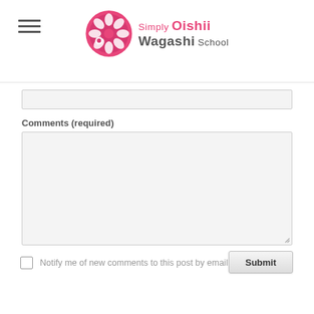Simply Oishii Wagashi School
[Figure (logo): Simply Oishii Wagashi School logo with pink floral circle icon and text]
Comments (required)
Notify me of new comments to this post by email
Submit